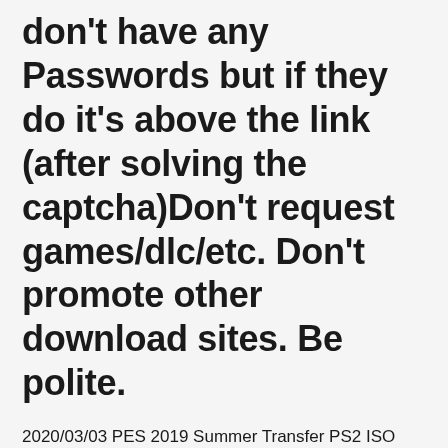don't have any Passwords but if they do it's above the link (after solving the captcha)Don't request games/dlc/etc. Don't promote other download sites. Be polite.
2020/03/03 PES 2019 Summer Transfer PS2 ISO Satu lagi game bola untuk Playstation 2 yang ketinggalan yaitu PES 2019 dengan update Summer Transfer sekarang.Ternyata banyak juga yang masih mencari update-an game PES untuk PS2 berarti masih ada peminat untuk game bola yang satu ini. If there's a broken link report it on the reuploads section only.Most games don't have any Passwords but if they do it's above the link (after solving the captcha)Don't request games/dlc/etc. Don't promote other download sites. Be polite. 2020/06/29 2015/01/22...